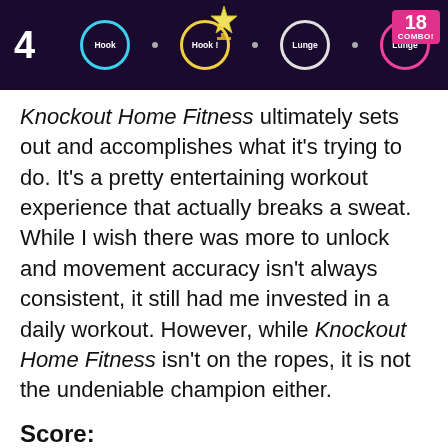[Figure (screenshot): Screenshot of Knockout Home Fitness game showing move sequence: number 4, Hook, Hook, Lunge, Lunge buttons, trophy icon, and 18 COMBO badge in pink]
Knockout Home Fitness ultimately sets out and accomplishes what it's trying to do. It's a pretty entertaining workout experience that actually breaks a sweat. While I wish there was more to unlock and movement accuracy isn't always consistent, it still had me invested in a daily workout. However, while Knockout Home Fitness isn't on the ropes, it is not the undeniable champion either.
Score:
[Figure (other): Partial donut/gauge chart showing a score, only the top arc is visible at the bottom of the page, dark gray color]